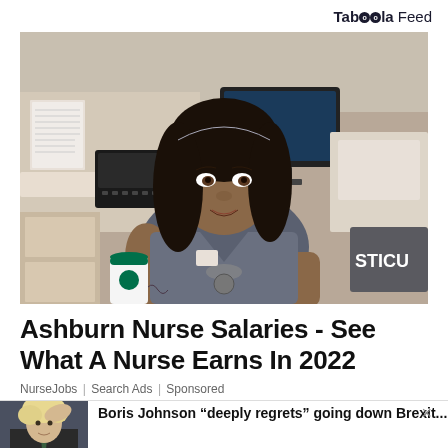Taboola Feed
[Figure (photo): A nurse in gray scrubs with a stethoscope, holding a Starbucks cup, sitting at a hospital workstation with a computer monitor, telephone, and equipment labeled STICU in the background.]
Ashburn Nurse Salaries - See What A Nurse Earns In 2022
NurseJobs | Search Ads | Sponsored
[Figure (photo): Boris Johnson scratching his head at a podium.]
Boris Johnson “deeply regrets” going down Brexit...